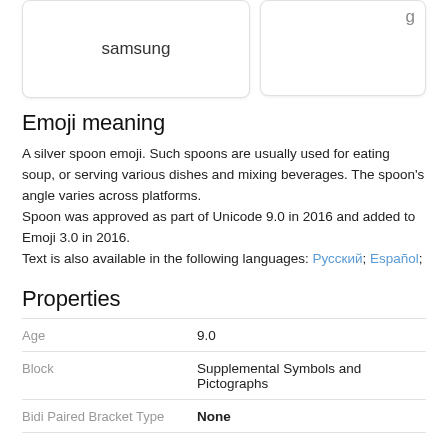[Figure (screenshot): Two card elements side by side: left card shows 'samsung' text, right card shows partial text 'g' in top area]
Emoji meaning
A silver spoon emoji. Such spoons are usually used for eating soup, or serving various dishes and mixing beverages. The spoon's angle varies across platforms.
Spoon was approved as part of Unicode 9.0 in 2016 and added to Emoji 3.0 in 2016.
Text is also available in the following languages: Русский; Español;
Properties
| Property | Value |
| --- | --- |
| Age | 9.0 |
| Block | Supplemental Symbols and Pictographs |
| Bidi Paired Bracket Type | None |